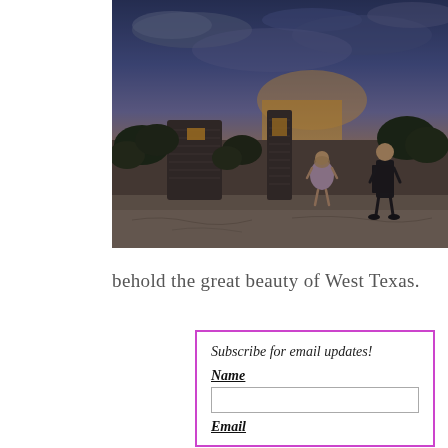[Figure (photo): Two people (a girl in a floral dress and a boy in dark clothing) stand near ruined stone/adobe structures at dusk in a desert landscape with scrubby vegetation and a dramatic cloudy sky with sunset colors. West Texas setting.]
behold the great beauty of West Texas.
Subscribe for email updates!
Name
Email